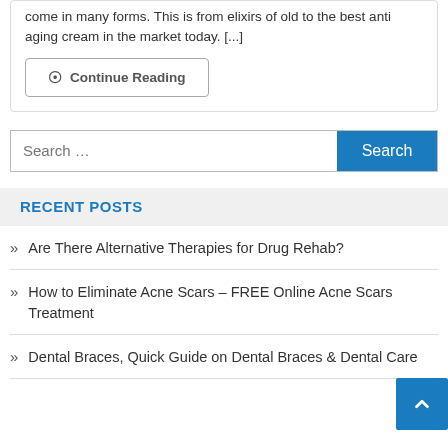come in many forms. This is from elixirs of old to the best anti aging cream in the market today. [...]
Continue Reading
Search ...
RECENT POSTS
Are There Alternative Therapies for Drug Rehab?
How to Eliminate Acne Scars – FREE Online Acne Scars Treatment
Dental Braces, Quick Guide on Dental Braces & Dental Care